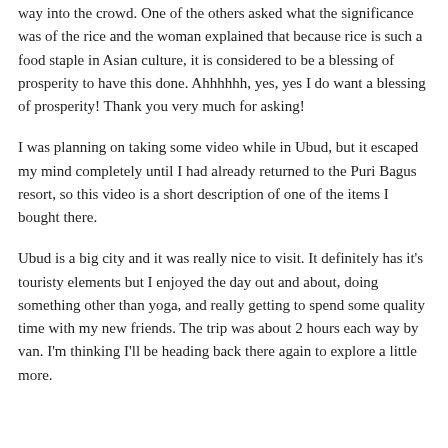way into the crowd. One of the others asked what the significance was of the rice and the woman explained that because rice is such a food staple in Asian culture, it is considered to be a blessing of prosperity to have this done. Ahhhhhh, yes, yes I do want a blessing of prosperity! Thank you very much for asking!
I was planning on taking some video while in Ubud, but it escaped my mind completely until I had already returned to the Puri Bagus resort, so this video is a short description of one of the items I bought there.
Ubud is a big city and it was really nice to visit. It definitely has it's touristy elements but I enjoyed the day out and about, doing something other than yoga, and really getting to spend some quality time with my new friends. The trip was about 2 hours each way by van. I'm thinking I'll be heading back there again to explore a little more.